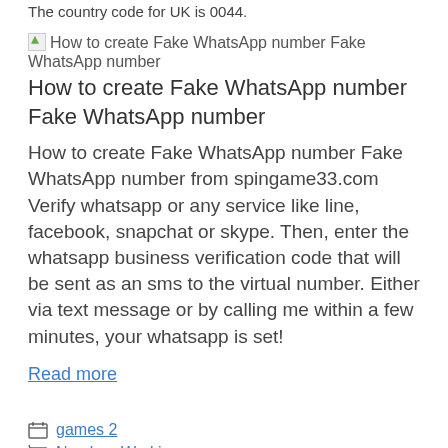The country code for UK is 0044.
[Figure (illustration): Broken image placeholder icon for 'How to create Fake WhatsApp number Fake WhatsApp number']
How to create Fake WhatsApp number Fake WhatsApp number
How to create Fake WhatsApp number Fake WhatsApp number from spingame33.com Verify whatsapp or any service like line, facebook, snapchat or skype. Then, enter the whatsapp business verification code that will be sent as an sms to the virtual number. Either via text message or by calling me within a few minutes, your whatsapp is set!
Read more
games 2
Number, Working